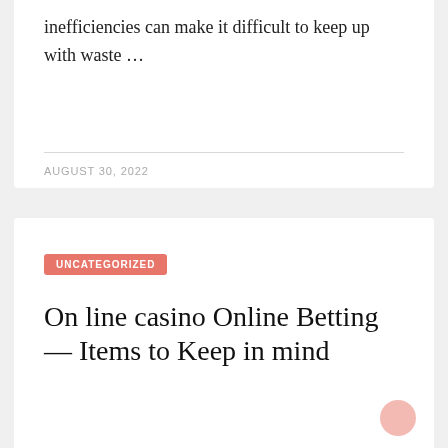inefficiencies can make it difficult to keep up with waste …
AUGUST 30, 2022
UNCATEGORIZED
On line casino Online Betting — Items to Keep in mind
Gambling attracts huge crowd because of its potential to offer unlimited income. For a novice it's not that easy to produce a dime by gambling, instead he will loose all he has Casino online betting tactic is the only